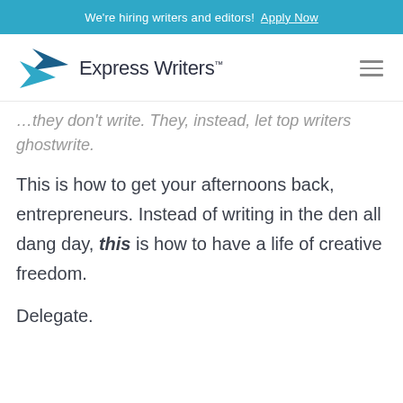We're hiring writers and editors! Apply Now
[Figure (logo): Express Writers logo with blue arrow/chevron shapes and the text 'Express Writers™']
…they don't write. They, instead, let top writers ghostwrite.
This is how to get your afternoons back, entrepreneurs. Instead of writing in the den all dang day, this is how to have a life of creative freedom.
Delegate.